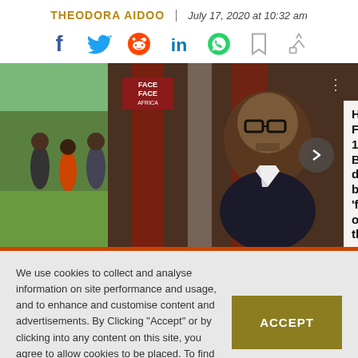THEODORA AIDOO | July 17, 2020 at 10:32 am
[Figure (other): Social sharing icons: Facebook, Twitter, Reddit, LinkedIn, WhatsApp, Bookmark, Share]
[Figure (photo): Left: Group of people outdoors including soldiers and civilians in green landscape. Right: Older Black man with glasses in interview setting with Face2Face Africa overlay and caption 'How Florida's 1st Black dentist became father of the']
We use cookies to collect and analyse information on site performance and usage, and to enhance and customise content and advertisements. By Clicking "Accept" or by clicking into any content on this site, you agree to allow cookies to be placed. To find out more, read our privacy policy.